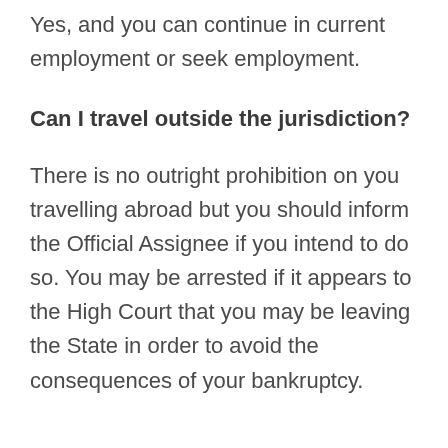Yes, and you can continue in current employment or seek employment.
Can I travel outside the jurisdiction?
There is no outright prohibition on you travelling abroad but you should inform the Official Assignee if you intend to do so. You may be arrested if it appears to the High Court that you may be leaving the State in order to avoid the consequences of your bankruptcy.